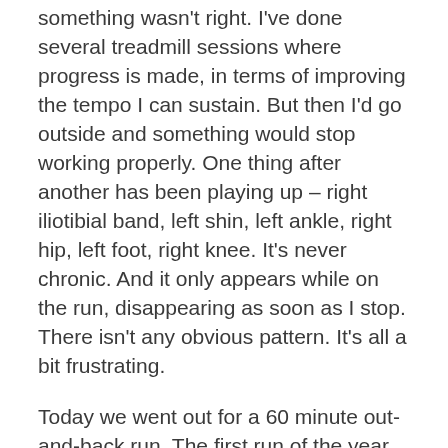something wasn't right. I've done several treadmill sessions where progress is made, in terms of improving the tempo I can sustain. But then I'd go outside and something would stop working properly. One thing after another has been playing up – right iliotibial band, left shin, left ankle, right hip, left foot, right knee. It's never chronic. And it only appears while on the run, disappearing as soon as I stop. There isn't any obvious pattern. It's all a bit frustrating.
Today we went out for a 60 minute out-and-back run. The first run of the year in longs not shorts. A sure sign that winter has arrived.
Everything was fine on the way out. But as soon as we turned for home the outside of my left calf started playing up. So I had to slow to even more of a jog than usual to ease the discomfort a bit. 31 minutes out, 33 and a half minutes back, not exactly the negative split I